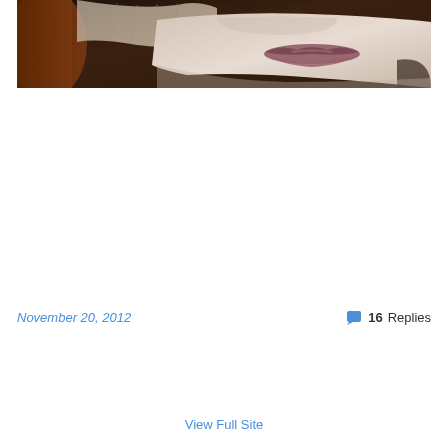[Figure (photo): Close-up photo of a person's lower face — lips slightly apart, pale skin, wearing a light taupe/grey knitted fabric near face, with auburn hair visible on the left side. Dark background.]
November 20, 2012
💬 16 Replies
View Full Site